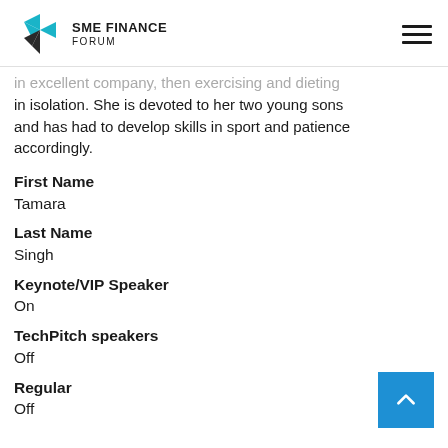SME FINANCE FORUM
in excellent company, then exercising and dieting in isolation. She is devoted to her two young sons and has had to develop skills in sport and patience accordingly.
First Name
Tamara
Last Name
Singh
Keynote/VIP Speaker
On
TechPitch speakers
Off
Regular
Off